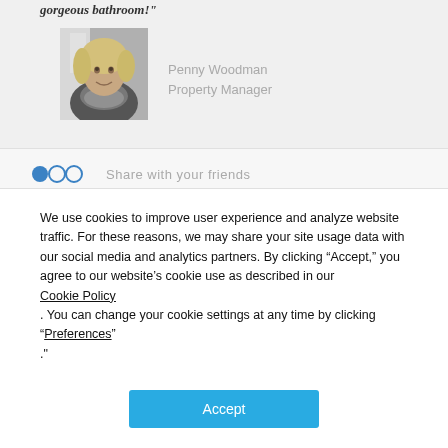gorgeous bathroom!"
[Figure (photo): Black and white portrait photo of a woman with blonde hair and a scarf, smiling]
Penny Woodman
Property Manager
Share with your friends
We use cookies to improve user experience and analyze website traffic. For these reasons, we may share your site usage data with our social media and analytics partners. By clicking “Accept,” you agree to our website’s cookie use as described in our Cookie Policy . You can change your cookie settings at any time by clicking “Preferences” .
Accept